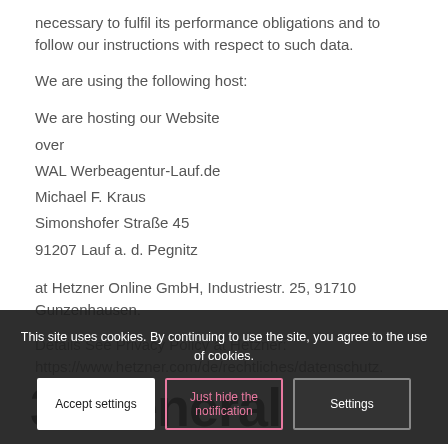necessary to fulfil its performance obligations and to follow our instructions with respect to such data.
We are using the following host:
We are hosting our Website
over
WAL Werbeagentur-Lauf.de
Michael F. Kraus
Simonshofer Straße 45
91207 Lauf a. d. Pegnitz
at Hetzner Online GmbH, Industriestr. 25, 91710 Gunzenhausen.
Details See Privacy Policy at Hetzner:
https://www.hetzner.com/de/rechtliches/datenschutz.
This site uses cookies. By continuing to use the site, you agree to the use of cookies.
Accept settings
Just hide the notification
Settings
3. General